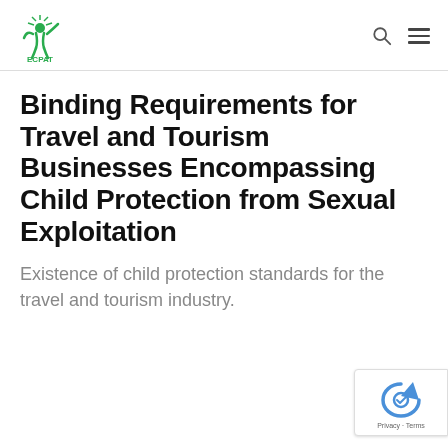ECPAT logo with search and menu icons
Binding Requirements for Travel and Tourism Businesses Encompassing Child Protection from Sexual Exploitation
Existence of child protection standards for the travel and tourism industry.